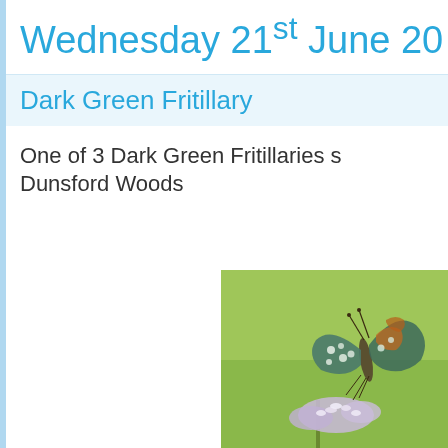Wednesday 21st June 20
Dark Green Fritillary
One of 3 Dark Green Fritillaries s… Dunsford Woods
[Figure (photo): A Dark Green Fritillary butterfly perched on purple/white flowers against a green background, showing the underside of its wings with teal/grey coloring and white spots with orange markings.]